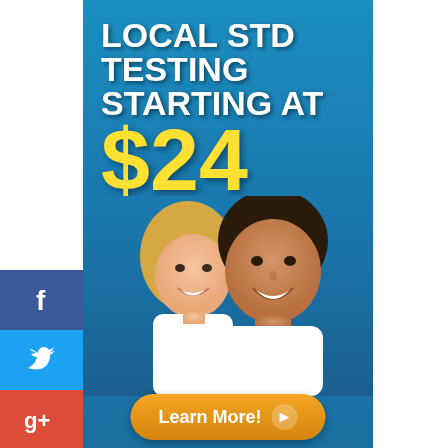[Figure (infographic): Advertisement banner for local STD testing starting at $24, 100% Confidential, FDA approved, with photo of smiling couple and Learn More button. Social media share buttons (Facebook, Twitter, Google+, Pinterest, Reddit, StumbleUpon) on the left side.]